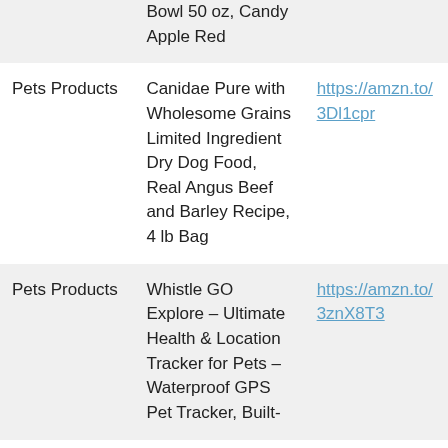| Category | Product Name | Link |
| --- | --- | --- |
|  | Bowl 50 oz, Candy Apple Red |  |
| Pets Products | Canidae Pure with Wholesome Grains Limited Ingredient Dry Dog Food, Real Angus Beef and Barley Recipe, 4 lb Bag | https://amzn.to/3Dl1cpr |
| Pets Products | Whistle GO Explore – Ultimate Health & Location Tracker for Pets – Waterproof GPS Pet Tracker, Built- | https://amzn.to/3znX8T3 |